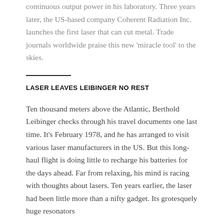continuous output power in his laboratory. Three years later, the US-based company Coherent Radiation Inc. launches the first laser that can cut metal. Trade journals worldwide praise this new 'miracle tool' to the skies.
LASER LEAVES LEIBINGER NO REST
Ten thousand meters above the Atlantic, Berthold Leibinger checks through his travel documents one last time. It's February 1978, and he has arranged to visit various laser manufacturers in the US. But this long-haul flight is doing little to recharge his batteries for the days ahead. Far from relaxing, his mind is racing with thoughts about lasers. Ten years earlier, the laser had been little more than a nifty gadget. Its grotesquely huge resonators